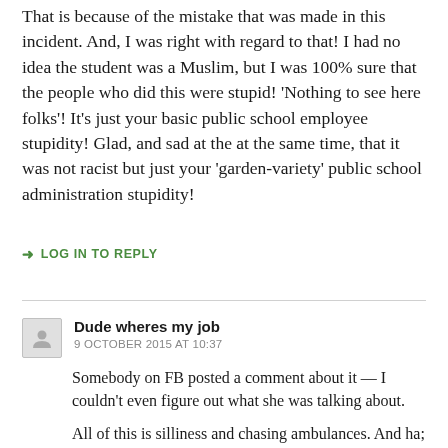That is because of the mistake that was made in this incident. And, I was right with regard to that! I had no idea the student was a Muslim, but I was 100% sure that the people who did this were stupid! 'Nothing to see here folks'! It's just your basic public school employee stupidity! Glad, and sad at the at the same time, that it was not racist but just your 'garden-variety' public school administration stupidity!
↳ LOG IN TO REPLY
Dude wheres my job
9 OCTOBER 2015 AT 10:37
Somebody on FB posted a comment about it — I couldn't even figure out what she was talking about.
All of this is silliness and chasing ambulances. And ha; we still haven't quite mastered how to make our